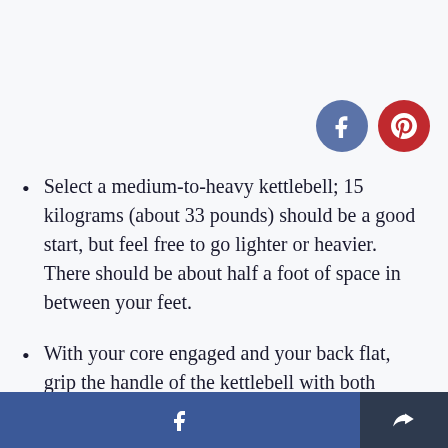[Figure (other): Social share buttons: Facebook (blue circle with 'f') and Pinterest (red circle with 'p') icons]
Select a medium-to-heavy kettlebell; 15 kilograms (about 33 pounds) should be a good start, but feel free to go lighter or heavier. There should be about half a foot of space in between your feet.
With your core engaged and your back flat, grip the handle of the kettlebell with both
Facebook share button and share/export button